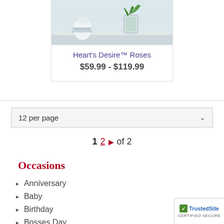[Figure (photo): Product photo of Heart's Desire Roses arrangement on a shelf with decorative vase]
Heart's Desire™ Roses
$59.99 - $119.99
12 per page
1  2  ▶  of 2
Occasions
Anniversary
Baby
Birthday
Bosses Day